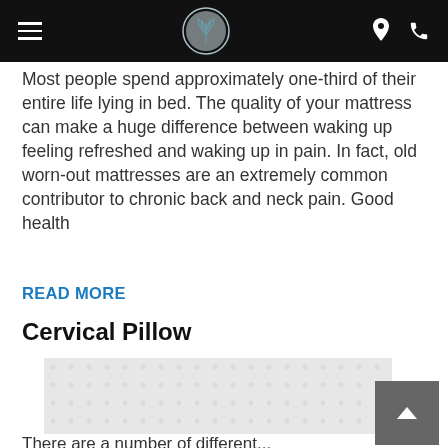[Navigation bar with hamburger menu, logo, location and phone icons]
Most people spend approximately one-third of their entire life lying in bed. The quality of your mattress can make a huge difference between waking up feeling refreshed and waking up in pain. In fact, old worn-out mattresses are an extremely common contributor to chronic back and neck pain. Good health
READ MORE
Cervical Pillow
[Figure (photo): Photo of a cervical pillow with a textured white/light gray surface showing a dotted or quilted pattern]
There are a number of different...